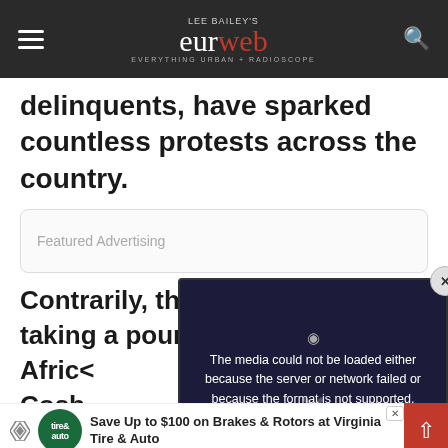LEE BAILEY'S eurweb EVERYTHING URBAN + RADIOSCOPE
delinquents, have sparked countless protests across the country.
Featured Advertising
[Figure (screenshot): Video player overlay showing error message: The media could not be loaded either because the server or network failed or because the format is not supported.]
Contrarily, the man we taking a pounding fro Africa Cosb rs on Faceb e